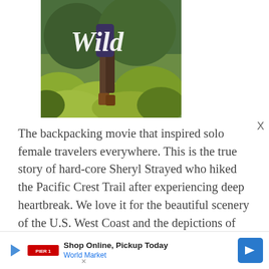[Figure (photo): Movie poster for 'Wild' showing a hiker on a trail with yellow-green vegetation/shrubs in the background. The word 'Wild' is written in cursive white text over the image.]
The backpacking movie that inspired solo female travelers everywhere. This is the true story of hard-core Sheryl Strayed who hiked the Pacific Crest Trail after experiencing deep heartbreak. We love it for the beautiful scenery of the U.S. West Coast and the depictions of familiar struggles that every long-haul backpacker will know all too well.
[Figure (screenshot): Advertisement banner: Shop Online, Pickup Today - World Market, with a blue navigation arrow icon on the right and a play button icon on the left.]